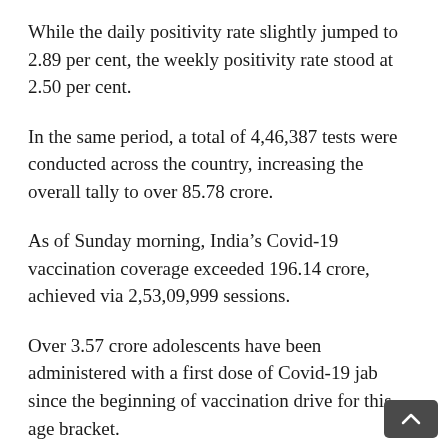While the daily positivity rate slightly jumped to 2.89 per cent, the weekly positivity rate stood at 2.50 per cent.
In the same period, a total of 4,46,387 tests were conducted across the country, increasing the overall tally to over 85.78 crore.
As of Sunday morning, India’s Covid-19 vaccination coverage exceeded 196.14 crore, achieved via 2,53,09,999 sessions.
Over 3.57 crore adolescents have been administered with a first dose of Covid-19 jab since the beginning of vaccination drive for this age bracket.